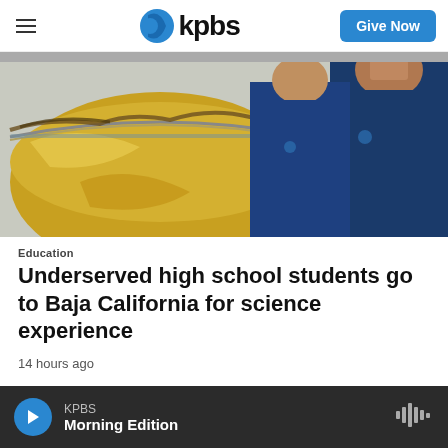kpbs | Give Now
[Figure (photo): Two young men in navy blue polo shirts looking at a large circular tank or container with golden/brown liquid or substrate, possibly a science or aquaculture experiment.]
Education
Underserved high school students go to Baja California for science experience
14 hours ago
KPBS Morning Edition